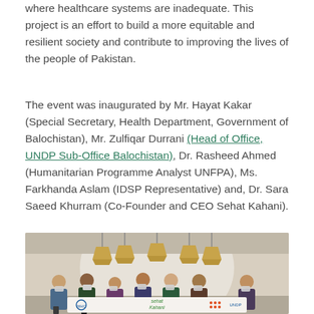where healthcare systems are inadequate. This project is an effort to build a more equitable and resilient society and contribute to improving the lives of the people of Pakistan.
The event was inaugurated by Mr. Hayat Kakar (Special Secretary, Health Department, Government of Balochistan), Mr. Zulfiqar Durrani (Head of Office, UNDP Sub-Office Balochistan), Dr. Rasheed Ahmed (Humanitarian Programme Analyst UNFPA), Ms. Farkhanda Aslam (IDSP Representative) and, Dr. Sara Saeed Khurram (Co-Founder and CEO Sehat Kahani).
[Figure (photo): Group photo of event attendees standing in front of a backdrop with logos including Sehat Kahani and WHO/UN agency logos. Decorative gold pendant lights visible above. Attendees wearing face masks.]